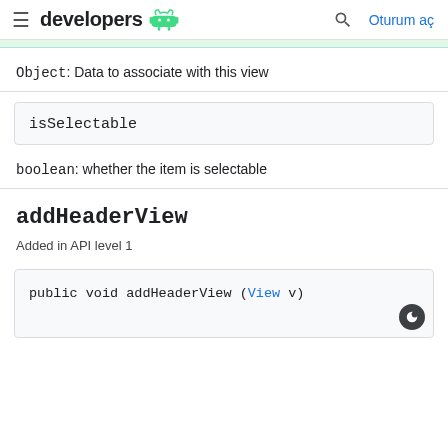developers (android logo) | Oturum aç
Object: Data to associate with this view
isSelectable
boolean: whether the item is selectable
addHeaderView
Added in API level 1
public void addHeaderView (View v)